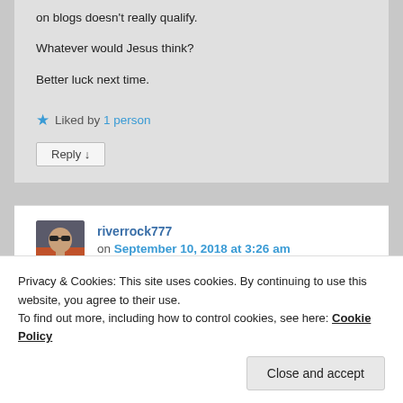on blogs doesn't really qualify.
Whatever would Jesus think?
Better luck next time.
★ Liked by 1 person
Reply ↓
riverrock777 on September 10, 2018 at 3:26 am said:
Privacy & Cookies: This site uses cookies. By continuing to use this website, you agree to their use.
To find out more, including how to control cookies, see here: Cookie Policy
Close and accept
As for loving your enemies, who is God's